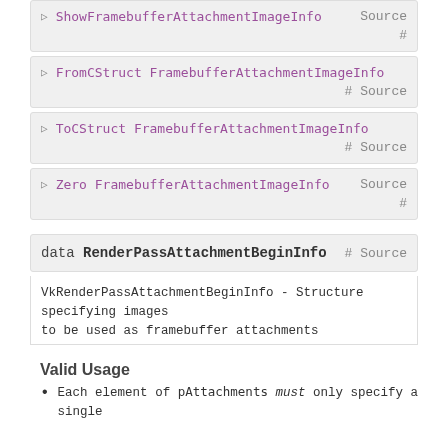▷ ShowFramebufferAttachmentImageInfo   Source
#
▷ FromCStruct FramebufferAttachmentImageInfo
# Source
▷ ToCStruct FramebufferAttachmentImageInfo
# Source
▷ Zero FramebufferAttachmentImageInfo  Source
#
data RenderPassAttachmentBeginInfo  # Source
VkRenderPassAttachmentBeginInfo - Structure specifying images to be used as framebuffer attachments
Valid Usage
Each element of pAttachments must only specify a single